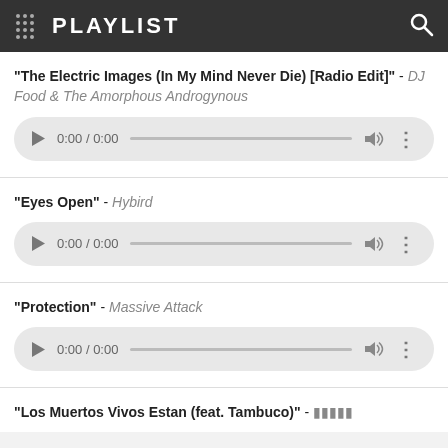PLAYLIST
"The Electric Images (In My Mind Never Die) [Radio Edit]" - DJ Food & The Amorphous Androgynous
[Figure (screenshot): Audio player control showing 0:00 / 0:00 with play button, scrubber, volume and more icons]
"Eyes Open" - Hybird
[Figure (screenshot): Audio player control showing 0:00 / 0:00 with play button, scrubber, volume and more icons]
"Protection" - Massive Attack
[Figure (screenshot): Audio player control showing 0:00 / 0:00 with play button, scrubber, volume and more icons]
"Los Muertos Vivos Estan (feat. Tambuco)" -